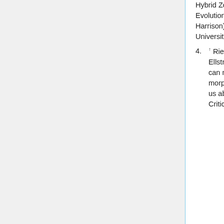Hybrid Zones and the Evolutionary Process. (ed. J. Harrison) p 70-109, Oxford University Press, New York.
↑ Rieseberg, L.H. and Ellstrand, N.C. (1993) What can molecular and morphological markers tell us about plant hybridization/ Critical Reviews of
What can they contribute toward increased crop productivity? Hoisington, D. and others (1999) Proc. Natl. Acad Sci USA. Vol. 96, Issue 11, 5937-5943, May 25, 1999. (This paper was presented at the National Academy of Sciences colloquium "Plants and Population: